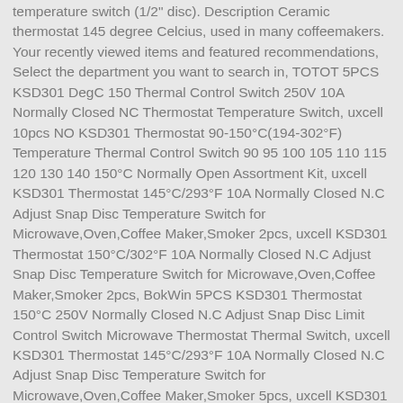temperature switch (1/2" disc). Description Ceramic thermostat 145 degree Celcius, used in many coffeemakers. Your recently viewed items and featured recommendations, Select the department you want to search in, TOTOT 5PCS KSD301 DegC 150 Thermal Control Switch 250V 10A Normally Closed NC Thermostat Temperature Switch, uxcell 10pcs NO KSD301 Thermostat 90-150°C(194-302°F) Temperature Thermal Control Switch 90 95 100 105 110 115 120 130 140 150°C Normally Open Assortment Kit, uxcell KSD301 Thermostat 145°C/293°F 10A Normally Closed N.C Adjust Snap Disc Temperature Switch for Microwave,Oven,Coffee Maker,Smoker 2pcs, uxcell KSD301 Thermostat 150°C/302°F 10A Normally Closed N.C Adjust Snap Disc Temperature Switch for Microwave,Oven,Coffee Maker,Smoker 2pcs, BokWin 5PCS KSD301 Thermostat 150°C 250V Normally Closed N.C Adjust Snap Disc Limit Control Switch Microwave Thermostat Thermal Switch, uxcell KSD301 Thermostat 145°C/293°F 10A Normally Closed N.C Adjust Snap Disc Temperature Switch for Microwave,Oven,Coffee Maker,Smoker 5pcs, uxcell KSD301 Thermostat 160°C/320°F 10A Normally Closed N.C Adjust Snap Disc Temperature Switch for Microwave,Oven,Coffee Maker,Smoker 2pcs, Univen Ceramic Coffeemaker Thermostat 145 Degree Celsius, uxcell KSD301 Temperature Control Switch Thermostat 150C N.C 250V 10A, uxcell 2 Pcs 210 Celsius Normal